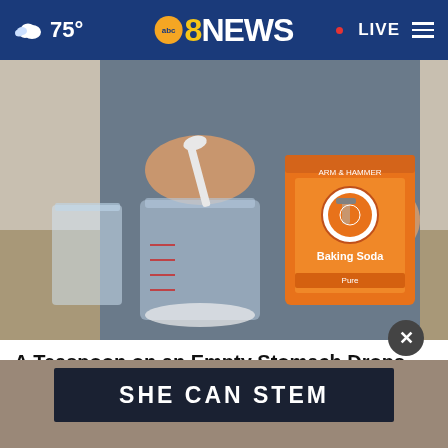75° | abc 8NEWS | LIVE
[Figure (photo): Person holding an Arm & Hammer Baking Soda box and spooning white powder into a glass jar on a countertop]
A Teaspoon on an Empty Stomach Drops Body Weight Like Crazy!
Trending New Finds
[Figure (photo): Bottom banner ad with dark overlay reading SHE CAN STEM]